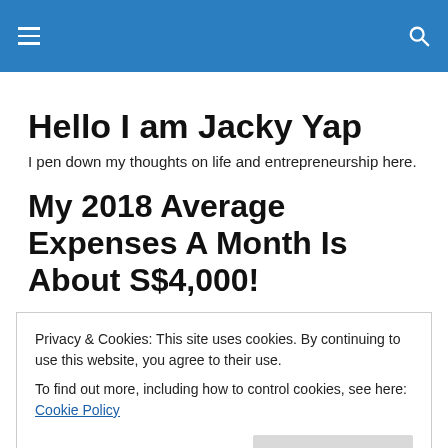Hello I am Jacky Yap
I pen down my thoughts on life and entrepreneurship here.
My 2018 Average Expenses A Month Is About S$4,000!
This post is a review of my expenses for the year.
Privacy & Cookies: This site uses cookies. By continuing to use this website, you agree to their use.
To find out more, including how to control cookies, see here: Cookie Policy